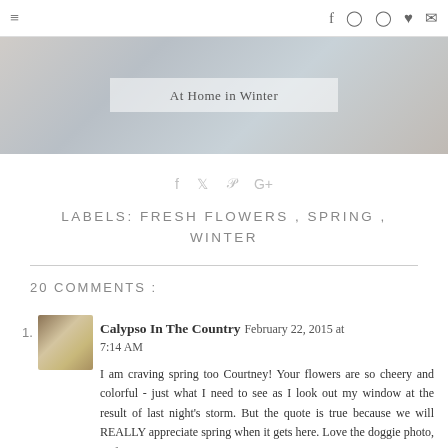≡  f  Pinterest  Instagram  ♥  ✉
[Figure (photo): Banner image of home interior with rooms shown side by side, with text overlay 'At Home in Winter']
f  t  P  G+
LABELS: FRESH FLOWERS , SPRING , WINTER
20 COMMENTS :
Calypso In The Country  February 22, 2015 at 7:14 AM
I am craving spring too Courtney! Your flowers are so cheery and colorful - just what I need to see as I look out my window at the result of last night's storm. But the quote is true because we will REALLY appreciate spring when it gets here. Love the doggie photo, so funny! Stay warm!